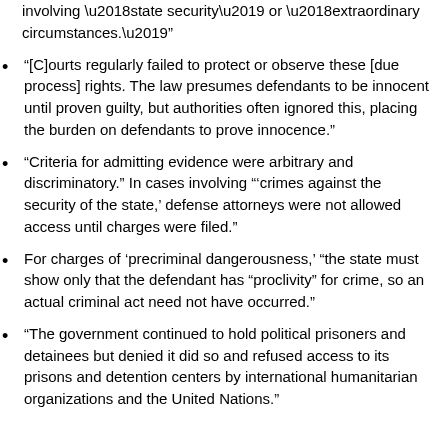involving ‘state security’ or ‘extraordinary circumstances.’”
“[C]ourts regularly failed to protect or observe these [due process] rights. The law presumes defendants to be innocent until proven guilty, but authorities often ignored this, placing the burden on defendants to prove innocence.”
“Criteria for admitting evidence were arbitrary and discriminatory.” In cases involving “‘crimes against the security of the state,’ defense attorneys were not allowed access until charges were filed.”
For charges of ‘precriminal dangerousness,’ “the state must show only that the defendant has “proclivity” for crime, so an actual criminal act need not have occurred.”
“The government continued to hold political prisoners and detainees but denied it did so and refused access to its prisons and detention centers by international humanitarian organizations and the United Nations.”